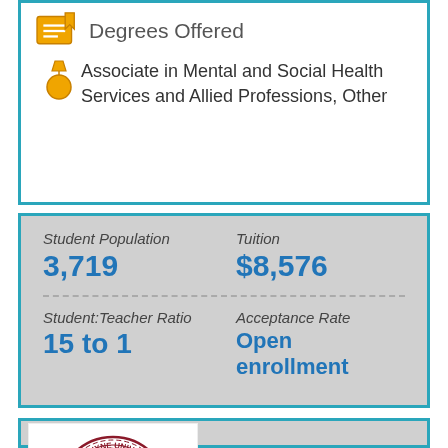Degrees Offered
Associate in Mental and Social Health Services and Allied Professions, Other
Student Population 3,719
Tuition $8,576
Student:Teacher Ratio 15 to 1
Acceptance Rate Open enrollment
[Figure (logo): Lenoir-Rhyne University seal/logo — circular red seal with 'LR' monogram, text 'LENOIR-RHYNE UNIVERSITY', 'HICKORY, N.C.', '1891']